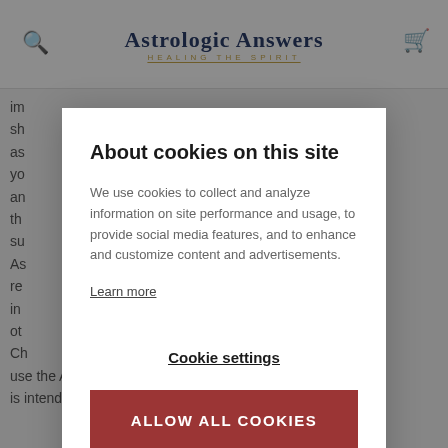Astrologic Answers — HEALING THE SPIRIT
About cookies on this site
We use cookies to collect and analyze information on site performance and usage, to provide social media features, and to enhance and customize content and advertisements.
Learn more
Cookie settings
ALLOW ALL COOKIES
use the Astrologic Answers Site in any way that could or is intended to damage or impair the Astrologic Answers